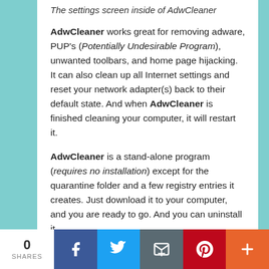The settings screen inside of AdwCleaner
AdwCleaner works great for removing adware, PUP's (Potentially Undesirable Program), unwanted toolbars, and home page hijacking. It can also clean up all Internet settings and reset your network adapter(s) back to their default state. And when AdwCleaner is finished cleaning your computer, it will restart it.
AdwCleaner is a stand-alone program (requires no installation) except for the quarantine folder and a few registry entries it creates. Just download it to your computer, and you are ready to go. And you can uninstall it
0 SHARES